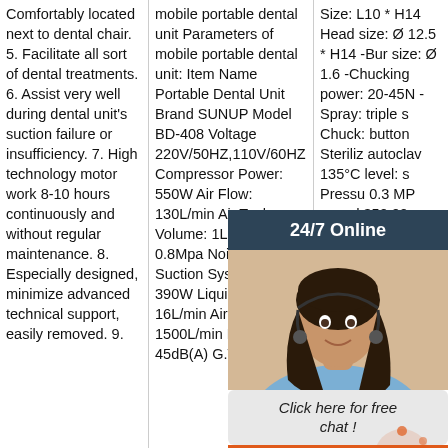Comfortably located next to dental chair. 5. Facilitate all sort of dental treatments. 6. Assist very well during dental unit's suction failure or insufficiency. 7. High technology motor work 8-10 hours continuously and without regular maintenance. 8. Especially designed, minimize advanced technical support, easily removed. 9.
mobile portable dental unit Parameters of mobile portable dental unit: Item Name Portable Dental Unit Brand SUNUP Model BD-408 Voltage 220V/50HZ,110V/60HZ Compressor Power: 550W Air Flow: 130L/min Air Tank Volume: 1L Pressure: 0.8Mpa Noise: 52dB(A) Suction System Power: 390W Liquid Flow: 16L/min Air Flow: 1500L/min Noise: 45dB(A) G.W. ...
Size: L10 * H14 Head size: Ø 12.5 * H14 -Bur size: Ø 1.6 -Chucking power: 20-45N -Spray: triple spray -Chuck: button Steriliz autoclave 135°C level: s Pressure 0.3 MP speed 350,000 rpm Dental Handpiece Warranty: Long Life-Span One Year Manufacturer Warranty Packing
[Figure (screenshot): 24/7 Online chat widget with customer service agent photo, 'Click here for free chat!' bubble, and orange QUOTATION button with TOP badge]